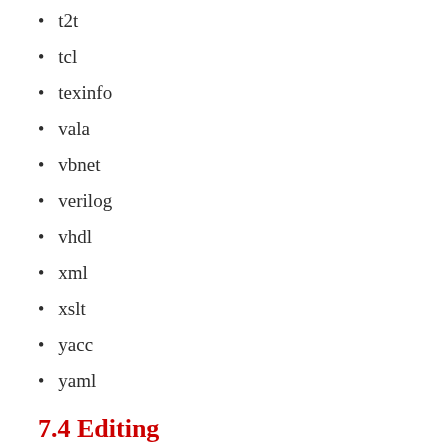t2t
tcl
texinfo
vala
vbnet
verilog
vhdl
xml
xslt
yacc
yaml
7.4  Editing